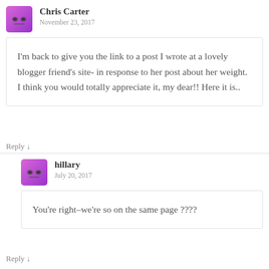Chris Carter
November 23, 2017
I'm back to give you the link to a post I wrote at a lovely blogger friend's site- in response to her post about her weight. I think you would totally appreciate it, my dear!! Here it is..
Reply ↓
hillary
July 20, 2017
You're right–we're so on the same page ????
Reply ↓